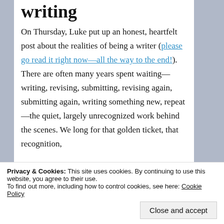writing
On Thursday, Luke put up an honest, heartfelt post about the realities of being a writer (please go read it right now—all the way to the end!). There are often many years spent waiting—writing, revising, submitting, revising again, submitting again, writing something new, repeat—the quiet, largely unrecognized work behind the scenes. We long for that golden ticket, that recognition,
Privacy & Cookies: This site uses cookies. By continuing to use this website, you agree to their use.
To find out more, including how to control cookies, see here: Cookie Policy
Close and accept